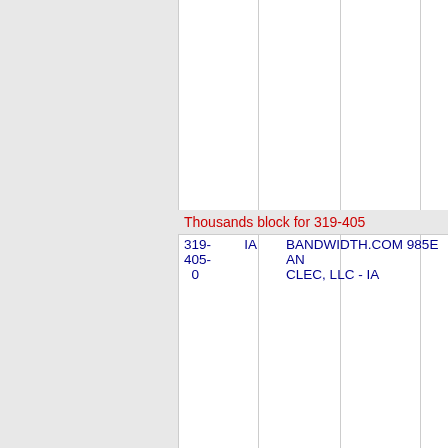| NPA-NXX | State | Company |
| --- | --- | --- |
| 319-405-0 | IA | BANDWIDTH.COM 985E AN CLEC, LLC - IA |